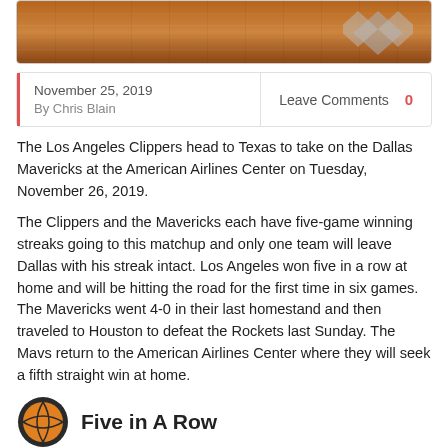[Figure (photo): Top portion of a basketball court image with hardwood floor and logo/diamond shapes visible]
November 25, 2019
By Chris Blain
Leave Comments  0
The Los Angeles Clippers head to Texas to take on the Dallas Mavericks at the American Airlines Center on Tuesday, November 26, 2019.
The Clippers and the Mavericks each have five-game winning streaks going to this matchup and only one team will leave Dallas with his streak intact. Los Angeles won five in a row at home and will be hitting the road for the first time in six games. The Mavericks went 4-0 in their last homestand and then traveled to Houston to defeat the Rockets last Sunday. The Mavs return to the American Airlines Center where they will seek a fifth straight win at home.
Five in A Row
The Los Angeles Clippers are 5-1 SU since Paul George has played. After losing in PG13's season debut against the New